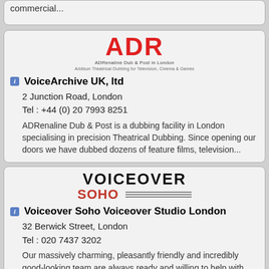commercial...
[Figure (logo): ADR - ADRenaline Dub & Post in London logo with large red ADR text and small subtitle text]
VoiceArchive UK, ltd
2 Junction Road, London
Tel : +44 (0) 20 7993 8251
ADRenaline Dub & Post is a dubbing facility in London specialising in precision Theatrical Dubbing. Since opening our doors we have dubbed dozens of feature films, television...
[Figure (logo): Voiceover Soho logo with VOICEOVER in black and SOHO in red with horizontal lines underneath]
Voiceover Soho Voiceover Studio London
32 Berwick Street, London
Tel : 020 7437 3202
Our massively charming, pleasantly friendly and incredibly good-looking team are always ready and willing to help with any audio related affairs, from voice-over to sound...